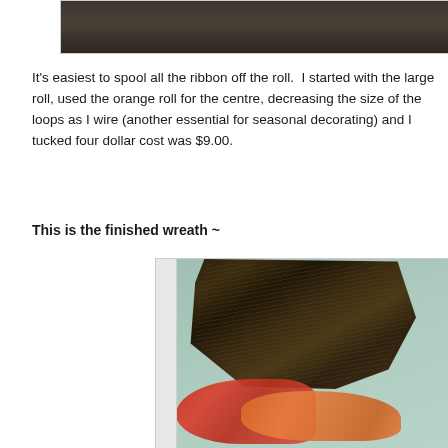[Figure (photo): Top portion of a photo, partially cropped, showing a dark surface with what appears to be a plate or dish]
It's easiest to spool all the ribbon off the roll.  I started with the large roll, used the orange roll for the centre, decreasing the size of the loops as I wire (another essential for seasonal decorating) and I tucked four dollar cost was $9.00.
This is the finished wreath ~
[Figure (photo): Photo of a finished autumn/fall wreath made of dark grasses and dried natural materials, decorated with orange and red ribbon and silk flowers, hanging on a teal/mint colored door or wall with a white frame visible on the left side]